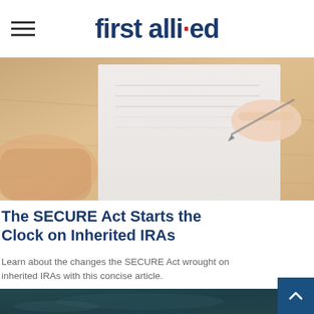first allied
[Figure (photo): Overhead view of person's hand holding a pen over paper documents on a wooden desk, suggesting document signing or financial planning.]
The SECURE Act Starts the Clock on Inherited IRAs
Learn about the changes the SECURE Act wrought on inherited IRAs with this concise article.
[Figure (photo): Dark teal textured background resembling a chalkboard or stone surface, partially visible at the bottom of the page.]